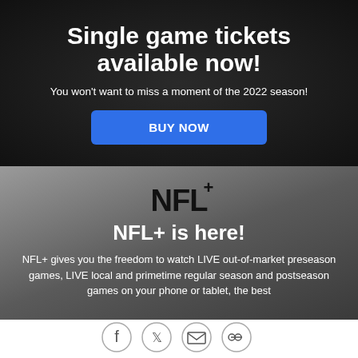Single game tickets available now!
You won't want to miss a moment of the 2022 season!
BUY NOW
[Figure (logo): NFL+ logo in bold black serif font with superscript plus sign]
NFL+ is here!
NFL+ gives you the freedom to watch LIVE out-of-market preseason games, LIVE local and primetime regular season and postseason games on your phone or tablet, the best
[Figure (infographic): Social media share icons: Facebook, Twitter, email, and link/chain icon in gray circles]